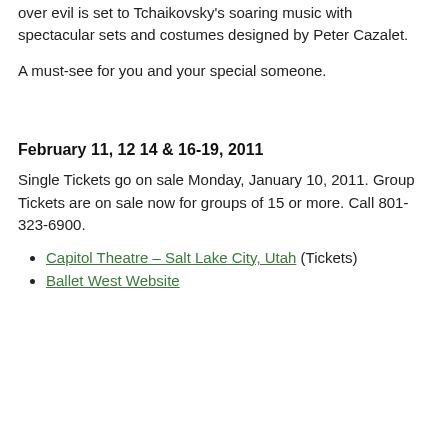over evil is set to Tchaikovsky's soaring music with spectacular sets and costumes designed by Peter Cazalet.
A must-see for you and your special someone.
February 11, 12 14 & 16-19, 2011
Single Tickets go on sale Monday, January 10, 2011. Group Tickets are on sale now for groups of 15 or more. Call 801-323-6900.
Capitol Theatre – Salt Lake City, Utah (Tickets)
Ballet West Website